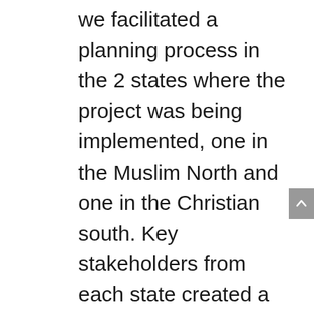we facilitated a planning process in the 2 states where the project was being implemented, one in the Muslim North and one in the Christian south. Key stakeholders from each state created a shared vision, identified the key challenges and opportunities in their current situation and key areas that needed support to move from their current situation to their desired future vision. These 2 visions were shared by state representatives (selected by their peers) at a national level workshop with other national level stakeholders. The power of this process led to increased understanding among the two groups and laid the foundation for them to work more effectively together over the